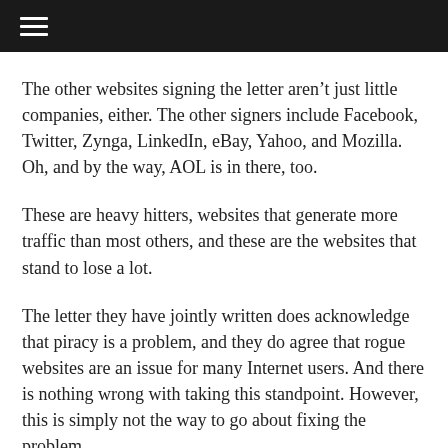The other websites signing the letter aren’t just little companies, either. The other signers include Facebook, Twitter, Zynga, LinkedIn, eBay, Yahoo, and Mozilla. Oh, and by the way, AOL is in there, too.
These are heavy hitters, websites that generate more traffic than most others, and these are the websites that stand to lose a lot.
The letter they have jointly written does acknowledge that piracy is a problem, and they do agree that rogue websites are an issue for many Internet users. And there is nothing wrong with taking this standpoint. However, this is simply not the way to go about fixing the problem.
This is a serious issue. You can see that this starts with